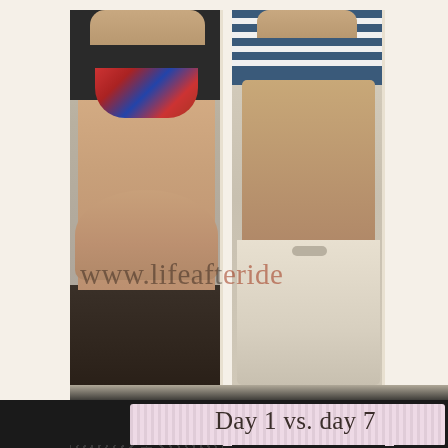[Figure (photo): A before-and-after collage showing three mirror selfie photos of a person's midsection/torso. Left photo shows a larger belly in dark pants and a colorful bra/bikini top. Middle photo shows a flatter stomach wearing a striped crop top and white shorts. Right photo is partially cropped showing a slimmer torso. A watermark reads 'www.lifeafteride' across the middle. At the bottom is a pink-striped label band reading 'Day 1 vs. day 7'.]
www.lifeafteride
Day 1 vs. day 7